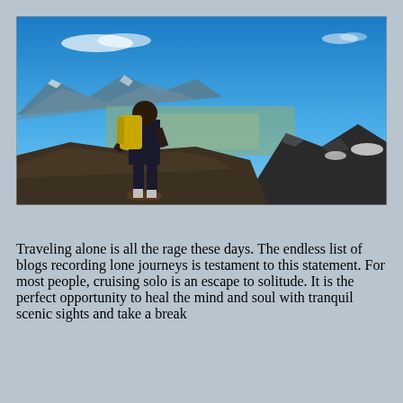[Figure (photo): A hiker with a yellow backpack stands on a rocky mountain summit overlooking a vast panoramic landscape with snow-capped mountains, valleys, and a vivid blue sky with light clouds.]
Traveling alone is all the rage these days. The endless list of blogs recording lone journeys is testament to this statement. For most people, cruising solo is an escape to solitude. It is the perfect opportunity to heal the mind and soul with tranquil scenic sights and take a break